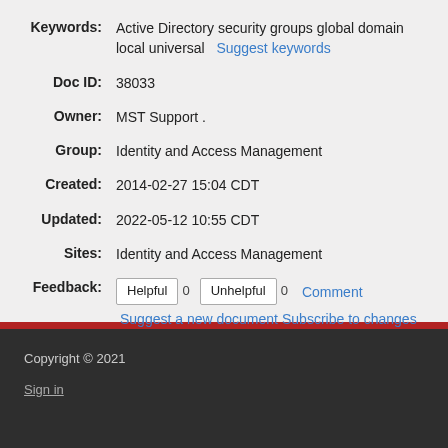Keywords: Active Directory security groups global domain local universal  Suggest keywords
Doc ID: 38033
Owner: MST Support .
Group: Identity and Access Management
Created: 2014-02-27 15:04 CDT
Updated: 2022-05-12 10:55 CDT
Sites: Identity and Access Management
Feedback: Helpful 0  Unhelpful 0  Comment  Suggest a new document  Subscribe to changes
Copyright © 2021
Sign in